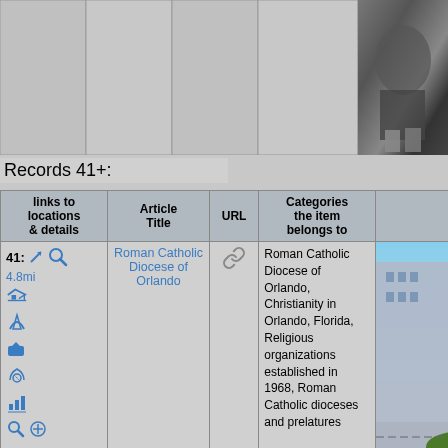[Figure (photo): Black and white photograph of a person, partially visible, showing coat and feet area]
Records 41+:
| links to locations & details | Article Title | URL | Categories the item belongs to | Images in Wikipedia article |
| --- | --- | --- | --- | --- |
| 41: 4.8mi [icons] | Roman Catholic Diocese of Orlando | [link] | Roman Catholic Diocese of Orlando, Christianity in Orlando, Florida, Religious organizations established in 1968, Roman Catholic dioceses and prelatures | [photo of building] |
[Figure (photo): Color photograph of Roman Catholic Diocese of Orlando building with trees and parked cars]